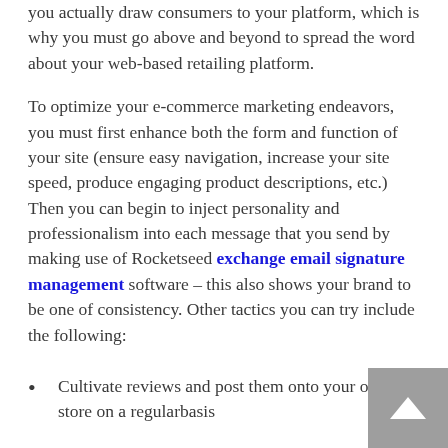you actually draw consumers to your platform, which is why you must go above and beyond to spread the word about your web-based retailing platform.
To optimize your e-commerce marketing endeavors, you must first enhance both the form and function of your site (ensure easy navigation, increase your site speed, produce engaging product descriptions, etc.) Then you can begin to inject personality and professionalism into each message that you send by making use of Rocketseed exchange email signature management software – this also shows your brand to be one of consistency. Other tactics you can try include the following:
Cultivate reviews and post them onto your online store on a regularbasis